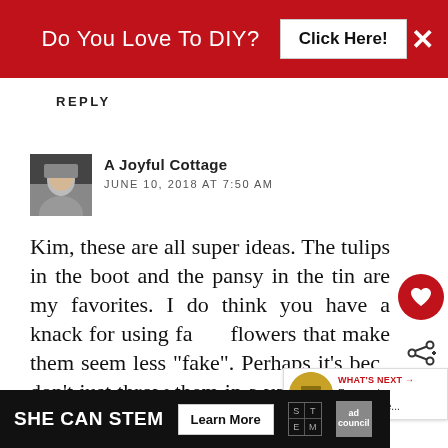[Figure (screenshot): Red advertisement banner: 'Do You Love To DIY? Click Here!' with a close X button]
REPLY
[Figure (photo): Small avatar photo of a woman with short gray hair]
A Joyful Cottage
JUNE 10, 2018 AT 7:50 AM
Kim, these are all super ideas. The tulips in the boot and the pansy in the tin are my favorites. I do think you have a knack for using fa... flowers that make them seem less "fake". Perhaps it's bec... don't just throw them in a vase or basket and call it good. You take the
[Figure (screenshot): Bottom advertisement banner: SHE CAN STEM, Learn More, with STEM logo and Ad Council logo]